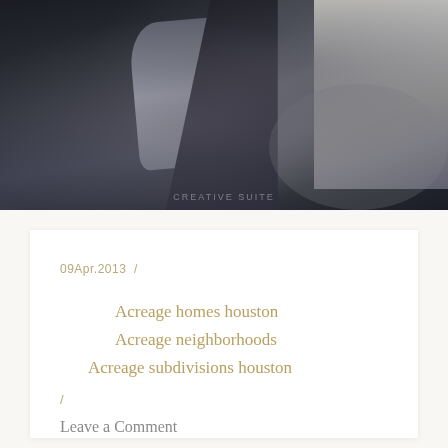[Figure (photo): A person wearing a dark jacket and grey sweater, with dark hair, photographed outdoors. Another figure is partially visible in the background on the right.]
09Apr.2013 /
Acreage homes houston
Acreage neighborhoods
Acreage subdivisions houston
/
Leave a Comment